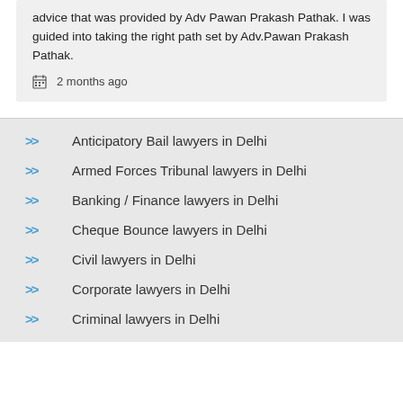advice that was provided by Adv Pawan Prakash Pathak. I was guided into taking the right path set by Adv.Pawan Prakash Pathak.
2 months ago
Anticipatory Bail lawyers in Delhi
Armed Forces Tribunal lawyers in Delhi
Banking / Finance lawyers in Delhi
Cheque Bounce lawyers in Delhi
Civil lawyers in Delhi
Corporate lawyers in Delhi
Criminal lawyers in Delhi